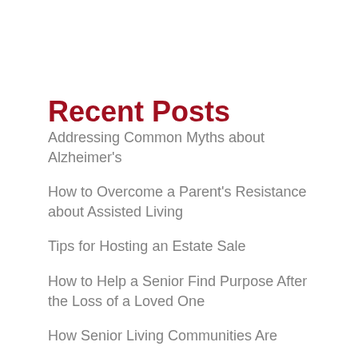Recent Posts
Addressing Common Myths about Alzheimer's
How to Overcome a Parent's Resistance about Assisted Living
Tips for Hosting an Estate Sale
How to Help a Senior Find Purpose After the Loss of a Loved One
How Senior Living Communities Are